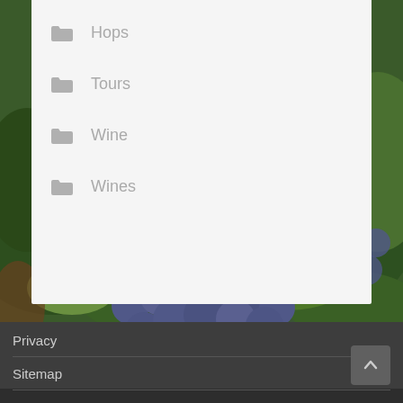[Figure (photo): Cluster of dark blue/purple grapes on the vine with green leaves, viewed close up as a background image]
Hops
Tours
Wine
Wines
Privacy
Sitemap